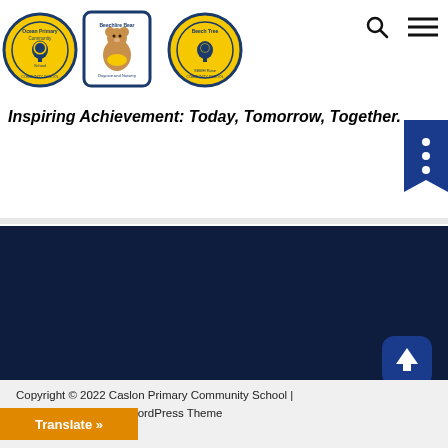[Figure (logo): Three logos: Ocean Primary Community School circular yellow/blue logo, Beechire Bear (bear mascot) square logo with blue border, Beech Tree SEMH Rose circular yellow/blue logo]
Inspiring Achievement: Today, Tomorrow, Together.
[Figure (other): Search icon (magnifying glass) and hamburger menu icon in top-right navigation area]
[Figure (other): Dark blue bookmark/ribbon button on right side with three white dots]
[Figure (other): Dark navy background section (footer content area)]
[Figure (other): Blue rounded scroll-to-top button with upward arrow]
Copyright © 2022 Caslon Primary Community School | Powered by Avril WordPress Theme
Translate »